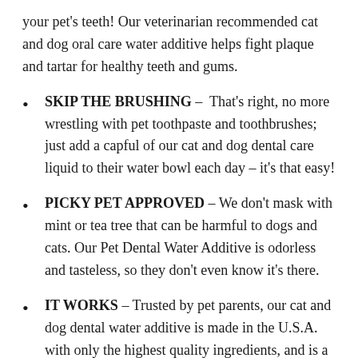your pet's teeth! Our veterinarian recommended cat and dog oral care water additive helps fight plaque and tartar for healthy teeth and gums.
SKIP THE BRUSHING –  That's right, no more wrestling with pet toothpaste and toothbrushes; just add a capful of our cat and dog dental care liquid to their water bowl each day – it's that easy!
PICKY PET APPROVED – We don't mask with mint or tea tree that can be harmful to dogs and cats. Our Pet Dental Water Additive is odorless and tasteless, so they don't even know it's there.
IT WORKS – Trusted by pet parents, our cat and dog dental water additive is made in the U.S.A. with only the highest quality ingredients, and is a pet bad breath